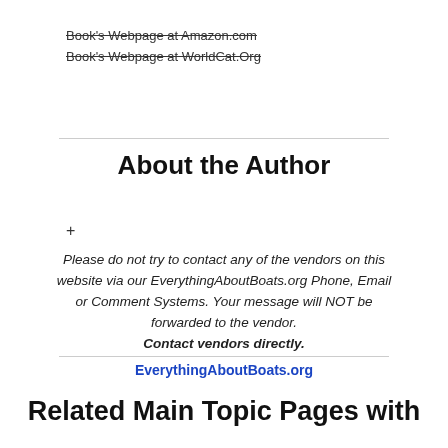Book's Webpage at Amazon.com
Book's Webpage at WorldCat.Org
About the Author
+
Please do not try to contact any of the vendors on this website via our EverythingAboutBoats.org Phone, Email or Comment Systems. Your message will NOT be forwarded to the vendor. Contact vendors directly.
EverythingAboutBoats.org
Related Main Topic Pages with